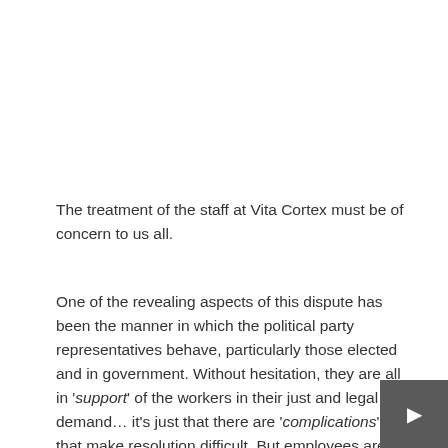The treatment of the staff at Vita Cortex must be of concern to us all.
One of the revealing aspects of this dispute has been the manner in which the political party representatives behave, particularly those elected and in government. Without hesitation, they are all in 'support' of the workers in their just and legal demand… it's just that there are 'complications' that make resolution difficult. But employees are entitled by law to redundancy, and to the deal agreed when closure was announced, yet this employer is somehow untouchable! The